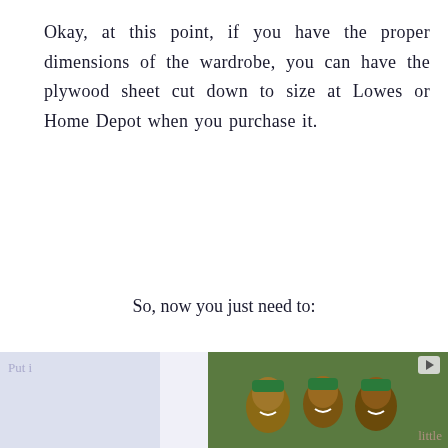Okay, at this point, if you have the proper dimensions of the wardrobe, you can have the plywood sheet cut down to size at Lowes or Home Depot when you purchase it.
So, now you just need to:
ch the banding with finishing nails, and a little wood glue in the joint
putty the holes.
Lightly sand
paint or finish your shelves.
[Figure (infographic): Teal/green square with white upward arrow icon (back to top button)]
[Figure (infographic): Bottom advertisement bar showing UNICEF logo with blue text and globe emblem, alongside a photo of smiling children wearing green hats, with a play button icon in top right corner]